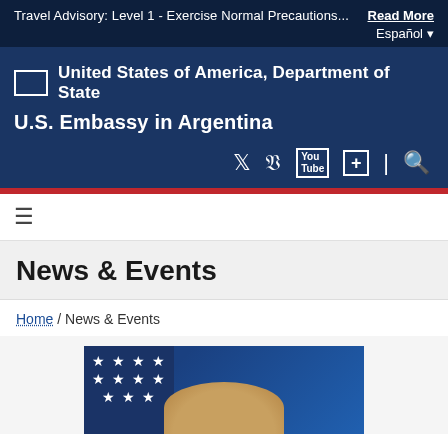Travel Advisory: Level 1 - Exercise Normal Precautions...  Read More  Español
United States of America, Department of State
U.S. Embassy in Argentina
News & Events
Home / News & Events
[Figure (photo): Partial photo of a person with light hair in front of an American flag and blue background]